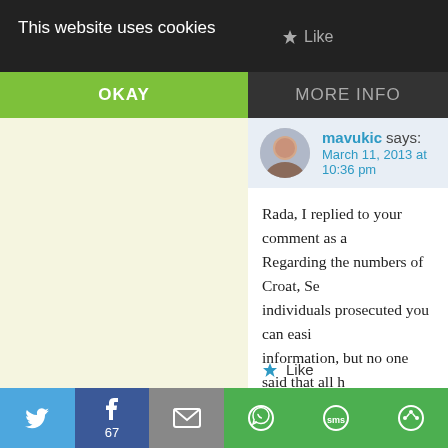This website uses cookies
OKAY
MORE INFO
mavukic says: March 11, 2013 at 10:36 pm
Rada, I replied to your comment as a Regarding the numbers of Croat, Se individuals prosecuted you can easi information, but no one said that all thousands in Croatia and B & H (e.g. processed in court 2,800 people). It comments on this blog that make on everything about Vuk Jeremic and v do at the debate in the UN and that d match the Ägenda''released for the
Like
[Figure (screenshot): Share bar with Twitter, Facebook (67), Email, WhatsApp, SMS, and other share buttons]